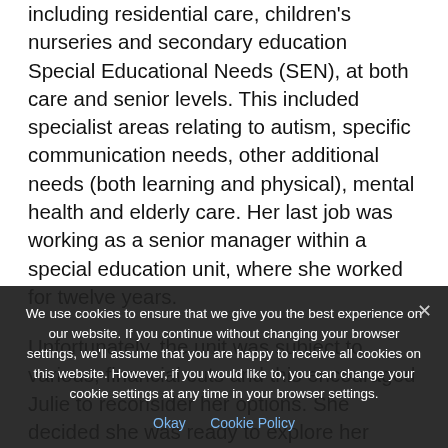including residential care, children's nurseries and secondary education Special Educational Needs (SEN), at both care and senior levels. This included specialist areas relating to autism, specific communication needs, other additional needs (both learning and physical), mental health and elderly care. Her last job was working as a senior manager within a special education unit, where she worked for twelve years.
Unfortunately, the unit was subject to various, financial cuts and this encouraged Julie to reconsider her options. She decided she was ready to explore her business coaching ambitions and felt that her experience, valuable achievements over the years had made an connection career.
We use cookies to ensure that we give you the best experience on our website. If you continue without changing your browser settings, we'll assume that you are happy to receive all cookies on this website. However, if you would like to, you can change your cookie settings at any time in your browser settings.